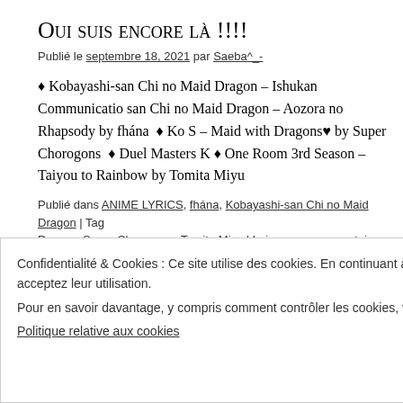Oui suis encore là !!!!
Publié le septembre 18, 2021 par Saeba^_-
♦ Kobayashi-san Chi no Maid Dragon – Ishukan Communicatio san Chi no Maid Dragon – Aozora no Rhapsody by fhána ♦ Ko S – Maid with Dragons♥ by Super Chorogons ♦ Duel Masters K ♦ One Room 3rd Season – Taiyou to Rainbow by Tomita Miyu
Publié dans ANIME LYRICS, fhána, Kobayashi-san Chi no Maid Dragon | Ta Dragon, Super Chorogons, Tomita Miyu | Laisser un commentaire
Yeah !!! la suite...
Confidentialité & Cookies : Ce site utilise des cookies. En continuant à utiliser ce site, vous acceptez leur utilisation.
Pour en savoir davantage, y compris comment contrôler les cookies, voir :
Politique relative aux cookies
Fermer et accepter